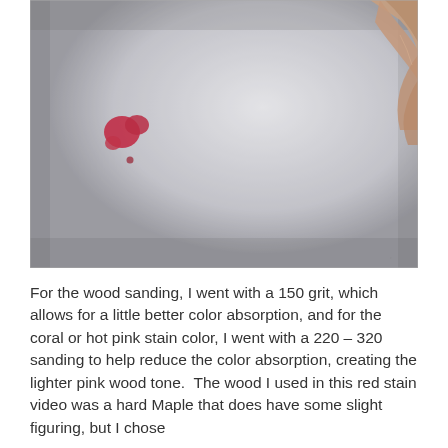[Figure (photo): Close-up photo of a white/light gray surface (likely sanded wood) with a small red/coral pink stain mark and a few smaller spots visible. A person's finger is partially visible in the upper right corner of the image.]
For the wood sanding, I went with a 150 grit, which allows for a little better color absorption, and for the coral or hot pink stain color, I went with a 220 – 320 sanding to help reduce the color absorption, creating the lighter pink wood tone.  The wood I used in this red stain video was a hard Maple that does have some slight figuring, but I chose